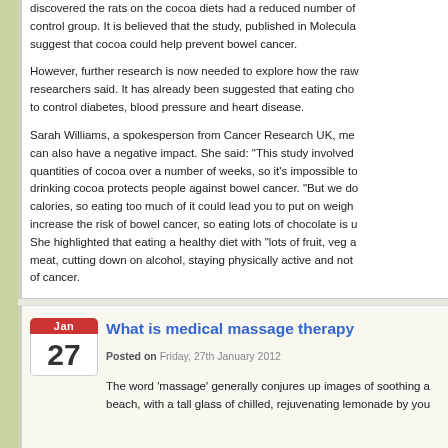discovered the rats on the cocoa diets had a reduced number of control group. It is believed that the study, published in Molecula suggest that cocoa could help prevent bowel cancer. However, further research is now needed to explore how the raw researchers said. It has already been suggested that eating cho to control diabetes, blood pressure and heart disease. Sarah Williams, a spokesperson from Cancer Research UK, me can also have a negative impact. She said: "This study involved quantities of cocoa over a number of weeks, so it's impossible to drinking cocoa protects people against bowel cancer. "But we do calories, so eating too much of it could lead you to put on weigh increase the risk of bowel cancer, so eating lots of chocolate is u She highlighted that eating a healthy diet with "lots of fruit, veg a meat, cutting down on alcohol, staying physically active and not of cancer.
What is medical massage therapy
Posted on Friday, 27th January 2012
The word 'massage' generally conjures up images of soothing a beach, with a tall glass of chilled, rejuvenating lemonade by you